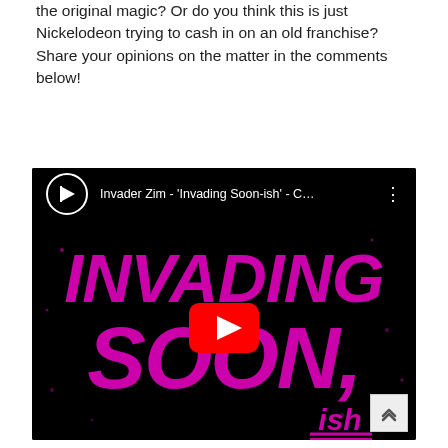the original magic? Or do you think this is just Nickelodeon trying to cash in on an old franchise? Share your opinions on the matter in the comments below!
[Figure (screenshot): YouTube video embed showing 'Invader Zim - Invading Soon-ish - C...' with a black background thumbnail displaying magenta/pink graffiti-style text reading 'INVADING SOON, ish' with a red YouTube play button in the center.]